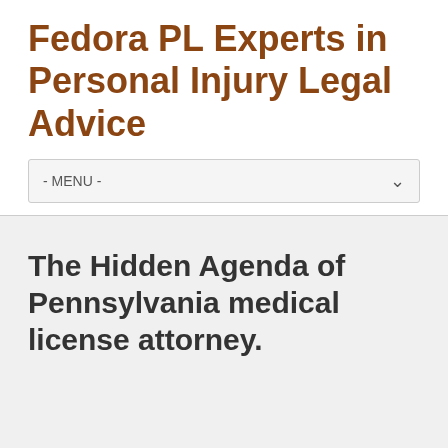Fedora PL Experts in Personal Injury Legal Advice
- MENU -
The Hidden Agenda of Pennsylvania medical license attorney.
Frank22   August 31, 2020   Uncategorized